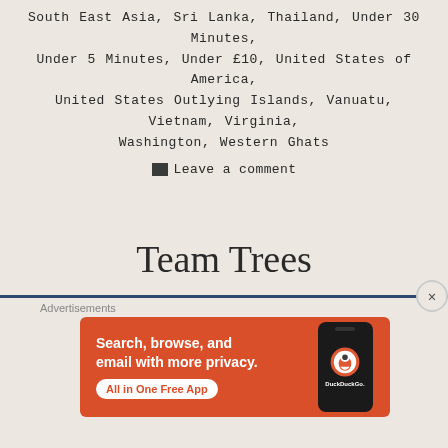South East Asia, Sri Lanka, Thailand, Under 30 Minutes, Under 5 Minutes, Under £10, United States of America, United States Outlying Islands, Vanuatu, Vietnam, Virginia, Washington, Western Ghats
Leave a comment
Team Trees
[Figure (other): DuckDuckGo advertisement banner with orange background, text 'Search, browse, and email with more privacy. All in One Free App' with a phone showing DuckDuckGo logo]
Advertisements